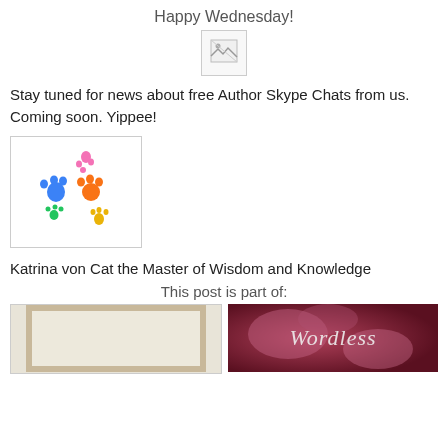Happy Wednesday!
[Figure (illustration): Broken image placeholder icon]
Stay tuned for news about free Author Skype Chats from us. Coming soon. Yippee!
[Figure (illustration): Colorful animal paw prints: blue, orange, pink, yellow, green on white background]
Katrina von Cat the Master of Wisdom and Knowledge
This post is part of:
[Figure (photo): Parchment/aged paper texture image with dark border frame]
[Figure (photo): Pink floral background with cursive text reading 'Wordless']